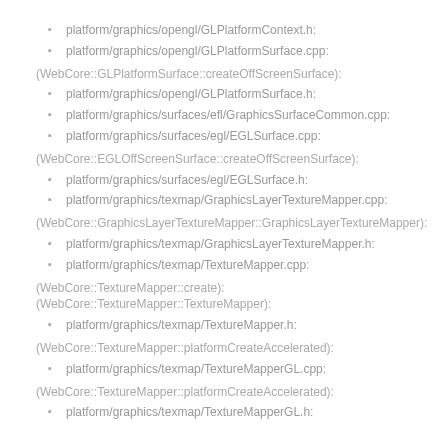platform/graphics/opengl/GLPlatformContext.h:
platform/graphics/opengl/GLPlatformSurface.cpp:
(WebCore::GLPlatformSurface::createOffScreenSurface):
platform/graphics/opengl/GLPlatformSurface.h:
platform/graphics/surfaces/efl/GraphicsSurfaceCommon.cpp:
platform/graphics/surfaces/egl/EGLSurface.cpp:
(WebCore::EGLOffScreenSurface::createOffScreenSurface):
platform/graphics/surfaces/egl/EGLSurface.h:
platform/graphics/texmap/GraphicsLayerTextureMapper.cpp:
(WebCore::GraphicsLayerTextureMapper::GraphicsLayerTextureMapper):
platform/graphics/texmap/GraphicsLayerTextureMapper.h:
platform/graphics/texmap/TextureMapper.cpp:
(WebCore::TextureMapper::create):
(WebCore::TextureMapper::TextureMapper):
platform/graphics/texmap/TextureMapper.h:
(WebCore::TextureMapper::platformCreateAccelerated):
platform/graphics/texmap/TextureMapperGL.cpp:
(WebCore::TextureMapper::platformCreateAccelerated):
platform/graphics/texmap/TextureMapperGL.h: